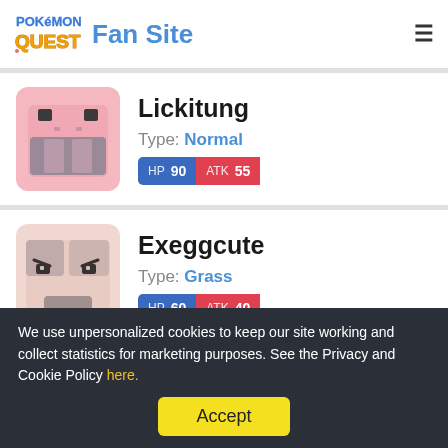Pokémon Quest Fan Site
[Figure (illustration): Lickitung pixel-art sprite — pink boxy creature with large mouth area]
Lickitung
Type: Normal
HP 90  ATK 55
[Figure (illustration): Exeggcute pixel-art sprite — pinkish boxy creature with angry eyes]
Exeggcute
Type: Grass
HP 60  ATK 40
We use unpersonalized cookies to keep our site working and collect statistics for marketing purposes. See the Privacy and Cookie Policy here.
Accept